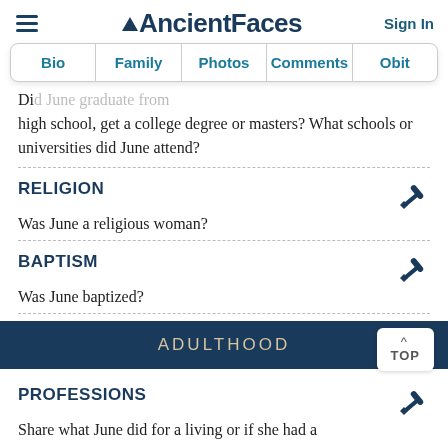AncientFaces | Sign In
Bio | Family | Photos | Comments | Obit
Did … high school, get a college degree or masters? What schools or universities did June attend?
RELIGION
Was June a religious woman?
BAPTISM
Was June baptized?
ADULTHOOD
PROFESSIONS
Share what June did for a living or if she had a